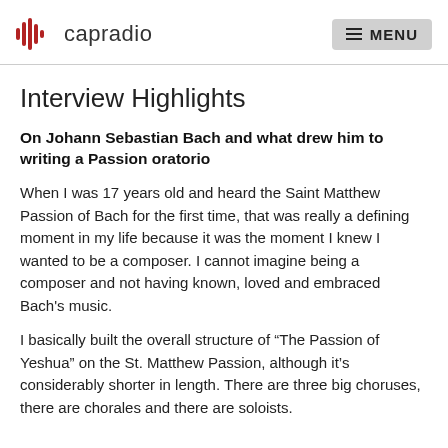capradio  MENU
Interview Highlights
On Johann Sebastian Bach and what drew him to writing a Passion oratorio
When I was 17 years old and heard the Saint Matthew Passion of Bach for the first time, that was really a defining moment in my life because it was the moment I knew I wanted to be a composer. I cannot imagine being a composer and not having known, loved and embraced Bach's music.
I basically built the overall structure of “The Passion of Yeshua” on the St. Matthew Passion, although it’s considerably shorter in length. There are three big choruses, there are chorales and there are soloists.